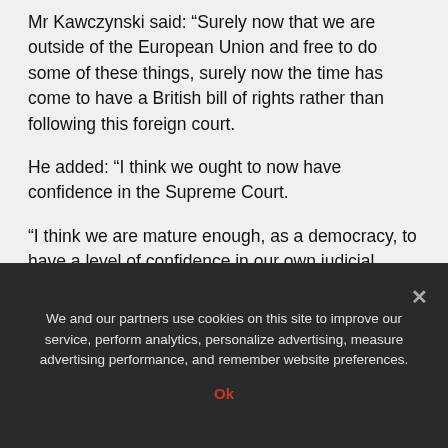Mr Kawczynski said: “Surely now that we are outside of the European Union and free to do some of these things, surely now the time has come to have a British bill of rights rather than following this foreign court.
He added: “I think we ought to now have confidence in the Supreme Court.
“I think we are mature enough, as a democracy, to have a level of confidence in our own judicial process, in our judges, in their transparency and accountability, in their ability to follow the rule of law.
“If three courts in this country, the High court, the Court of Appeal and the Supreme Court, all give the green
We and our partners use cookies on this site to improve our service, perform analytics, personalize advertising, measure advertising performance, and remember website preferences.